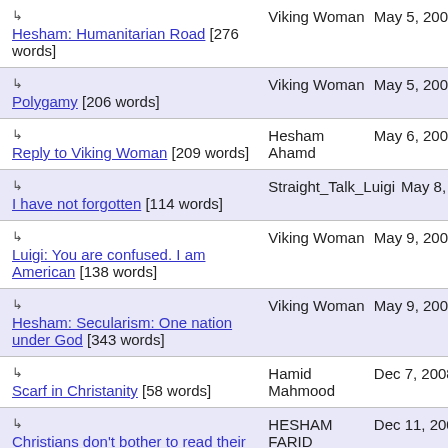Hesham: Humanitarian Road [276 words] | Viking Woman | May 5, 2008 10:04
Polygamy [206 words] | Viking Woman | May 5, 2008 10:15
Reply to Viking Woman [209 words] | Hesham Ahamd | May 6, 2008 03:35
I have not forgotten [114 words] | Straight_Talk_Luigi | May 8, 2008 05:38
Luigi: You are confused. I am American [138 words] | Viking Woman | May 9, 2008 05:53
Hesham: Secularism: One nation under God [343 words] | Viking Woman | May 9, 2008 06:27
Scarf in Christanity [58 words] | Hamid Mahmood | Dec 7, 2008 10:35
Christians don't bother to read their own religion. [28 words] | HESHAM FARID | Dec 11, 2008 15:43